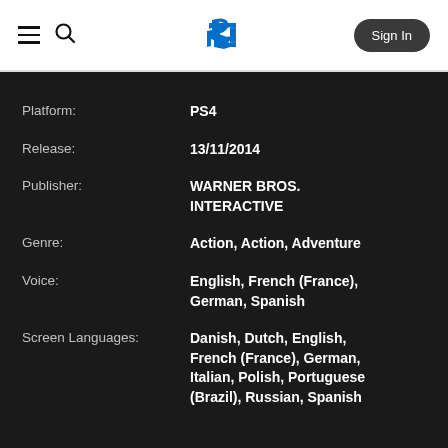PlayStation navigation bar with hamburger menu, search icon, PlayStation logo, and Sign In button
Platform: PS4
Release: 13/11/2014
Publisher: WARNER BROS. INTERACTIVE
Genre: Action, Action, Adventure
Voice: English, French (France), German, Spanish
Screen Languages: Danish, Dutch, English, French (France), German, Italian, Polish, Portuguese (Brazil), Russian, Spanish